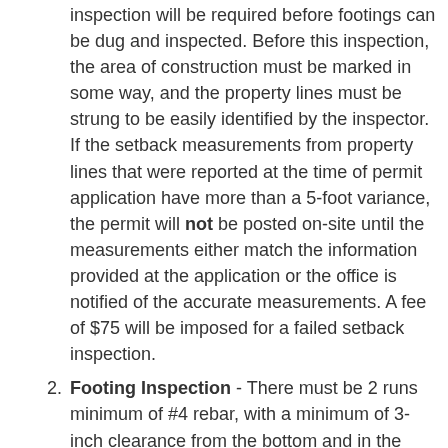inspection will be required before footings can be dug and inspected. Before this inspection, the area of construction must be marked in some way, and the property lines must be strung to be easily identified by the inspector. If the setback measurements from property lines that were reported at the time of permit application have more than a 5-foot variance, the permit will not be posted on-site until the measurements either match the information provided at the application or the office is notified of the accurate measurements. A fee of $75 will be imposed for a failed setback inspection.
Footing Inspection - There must be 2 runs minimum of #4 rebar, with a minimum of 3-inch clearance from the bottom and in the corner. Ditches should be free of debris, including clods, rocks, roots, and vegetation.
Foundation Inspection (prior to placing any framing members on foundation) - CMU walls